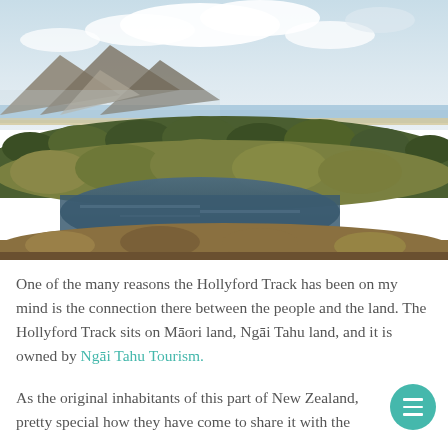[Figure (photo): Aerial landscape photograph of Hollyford Track area in New Zealand showing a river winding through dense native bush/forest, with a coastline, beach, and mountains in the background under a partly cloudy sky.]
One of the many reasons the Hollyford Track has been on my mind is the connection there between the people and the land. The Hollyford Track sits on Māori land, Ngāi Tahu land, and it is owned by Ngāi Tahu Tourism.
As the original inhabitants of this part of New Zealand, pretty special how they have come to share it with the